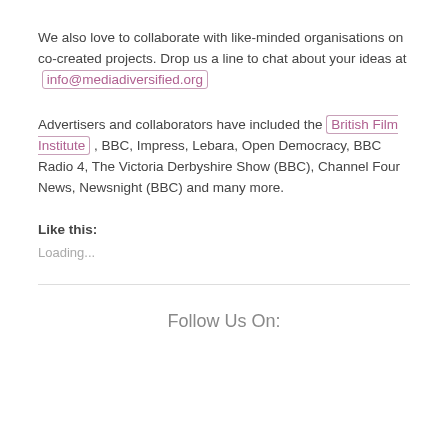We also love to collaborate with like-minded organisations on co-created projects. Drop us a line to chat about your ideas at info@mediadiversified.org
Advertisers and collaborators have included the British Film Institute , BBC, Impress, Lebara, Open Democracy, BBC Radio 4, The Victoria Derbyshire Show (BBC), Channel Four News, Newsnight (BBC) and many more.
Like this:
Loading...
Follow Us On: